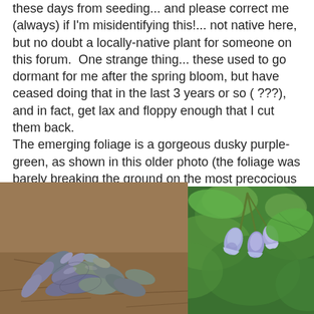these days from seeding... and please correct me (always) if I'm misidentifying this!... not native here, but no doubt a locally-native plant for someone on this forum.  One strange thing... these used to go dormant for me after the spring bloom, but have ceased doing that in the last 3 years or so ( ???), and in fact, get lax and floppy enough that I cut them back.
The emerging foliage is a gorgeous dusky purple-green, as shown in this older photo (the foliage was barely breaking the ground on the most precocious plant last weekend, before the latest snow).  Here are also photos of it in bloom.
[Figure (photo): Close-up photo of emerging plant foliage with dusky purple-green leaves arranged in a rosette pattern on sandy/mulched ground]
[Figure (photo): Photo of blue-purple bell-shaped flowers hanging from stems against a bright green leafy background]